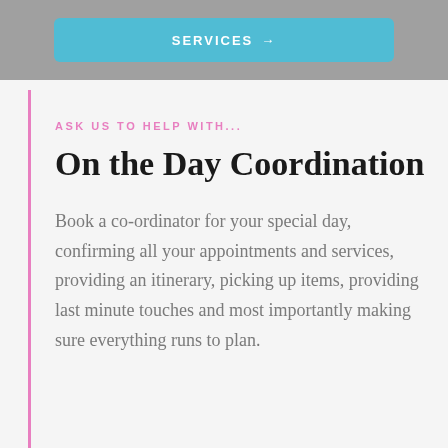[Figure (other): Blue rounded button with text partially visible at top, on grey banner background]
ASK US TO HELP WITH...
On the Day Coordination
Book a co-ordinator for your special day, confirming all your appointments and services, providing an itinerary, picking up items, providing last minute touches and most importantly making sure everything runs to plan.